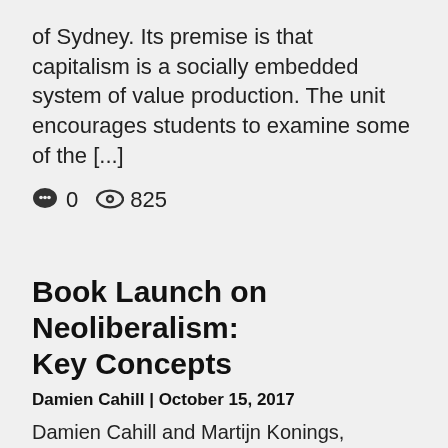of Sydney. Its premise is that capitalism is a socially embedded system of value production. The unit encourages students to examine some of the [...]
0   825
Book Launch on Neoliberalism: Key Concepts
Damien Cahill | October 15, 2017
Damien Cahill and Martijn Konings, Neoliberalism: Key Concepts
'For over three decades neoliberalism has been the dominant economic ideology. While it may